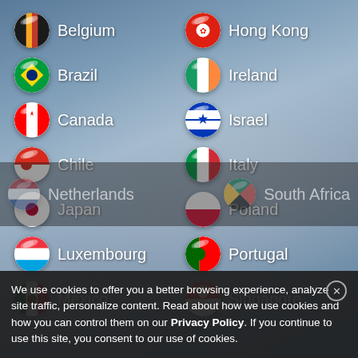Belgium
Hong Kong
Brazil
Ireland
Canada
Israel
Chile
Italy
Japan
Poland
Luxembourg
Portugal
Mexico
Singapore
Netherlands
South Africa
We use cookies to offer you a better browsing experience, analyze site traffic, personalize content. Read about how we use cookies and how you can control them on our Privacy Policy. If you continue to use this site, you consent to our use of cookies.